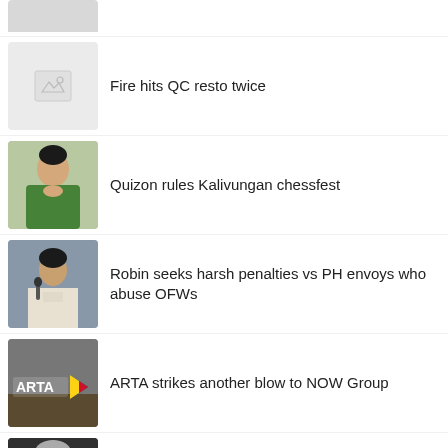[Figure (photo): Partially visible grey thumbnail at top of page]
[Figure (photo): Placeholder image thumbnail with mountain/image icon]
Fire hits QC resto twice
[Figure (photo): Photo of a woman in green patterned jacket]
Quizon rules Kalivungan chessfest
[Figure (photo): Photo of a man at a microphone]
Robin seeks harsh penalties vs PH envoys who abuse OFWs
[Figure (photo): ARTA logo with Philippine flag colors arrow logo]
ARTA strikes another blow to NOW Group
[Figure (photo): Photo of elderly man, Gorbachev]
World leaders express condolences over death of Gorbachev